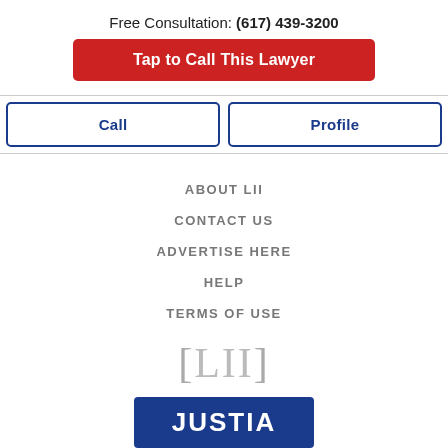Free Consultation: (617) 439-3200
Tap to Call This Lawyer
Call
Profile
ABOUT LII
CONTACT US
ADVERTISE HERE
HELP
TERMS OF USE
[Figure (logo): LII logo with brackets [LII]]
[Figure (logo): Justia logo — dark blue rectangle with white JUSTIA text]